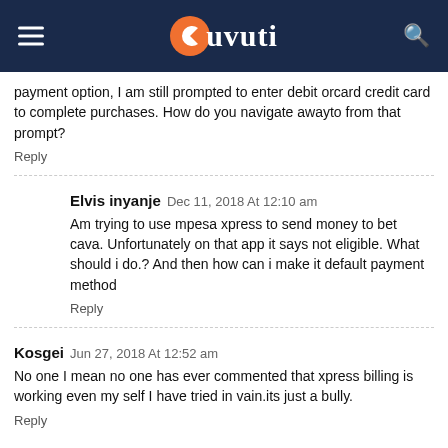Tuvuti
payment option, I am still prompted to enter debit orcard credit card to complete purchases. How do you navigate awayto from that prompt?
Reply
Elvis inyanje Dec 11, 2018 At 12:10 am
Am trying to use mpesa xpress to send money to bet cava. Unfortunately on that app it says not eligible. What should i do.? And then how can i make it default payment method
Reply
Kosgei Jun 27, 2018 At 12:52 am
No one I mean no one has ever commented that xpress billing is working even my self I have tried in vain.its just a bully.
Reply